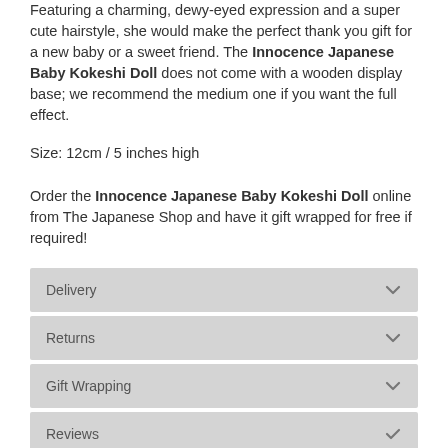Featuring a charming, dewy-eyed expression and a super cute hairstyle, she would make the perfect thank you gift for a new baby or a sweet friend. The Innocence Japanese Baby Kokeshi Doll does not come with a wooden display base; we recommend the medium one if you want the full effect.
Size: 12cm / 5 inches high
Order the Innocence Japanese Baby Kokeshi Doll online from The Japanese Shop and have it gift wrapped for free if required!
Delivery
Returns
Gift Wrapping
Reviews